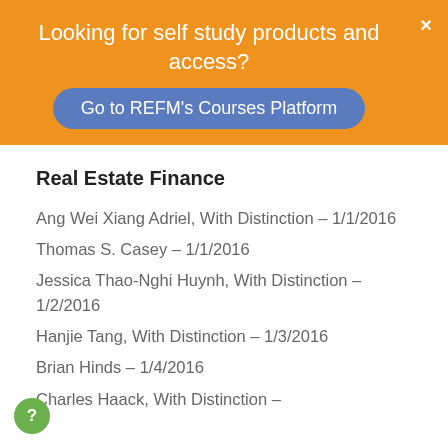Looking for self study products and access?
Go to REFM's Courses Platform
Real Estate Finance
Ang Wei Xiang Adriel, With Distinction – 1/1/2016
Thomas S. Casey – 1/1/2016
Jessica Thao-Nghi Huynh, With Distinction – 1/2/2016
Hanjie Tang, With Distinction – 1/3/2016
Brian Hinds – 1/4/2016
Charles Haack, With Distinction –